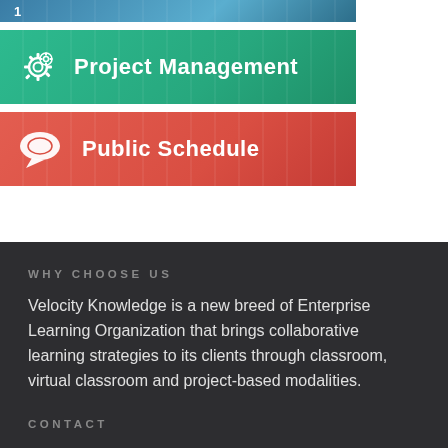[Figure (infographic): Teal/blue banner partially visible at top with number 1]
[Figure (infographic): Green banner with gear icon and text 'Project Management']
[Figure (infographic): Red banner with chat/speech bubble icon and text 'Public Schedule']
WHY CHOOSE US
Velocity Knowledge is a new breed of Enterprise Learning Organization that brings collaborative learning strategies to its clients through classroom, virtual classroom and project-based modalities.
CONTACT
PHONE